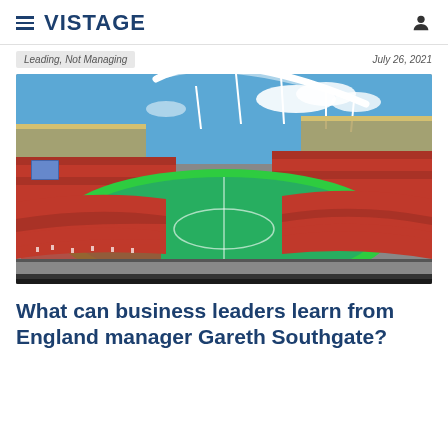VISTAGE
Leading, Not Managing   July 26, 2021
[Figure (photo): Interior view of Wembley Stadium filled with fans in red seats, green football pitch visible, iconic white arch structure visible overhead against a blue sky]
What can business leaders learn from England manager Gareth Southgate?